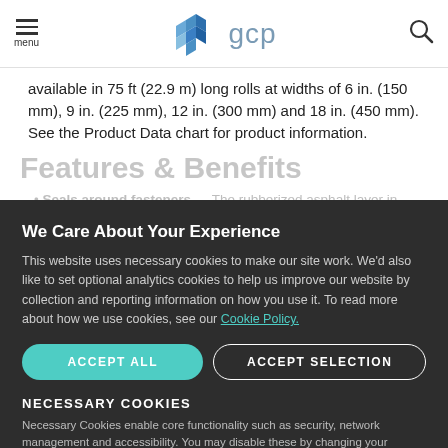menu | gcp | search
available in 75 ft (22.9 m) long rolls at widths of 6 in. (150 mm), 9 in. (225 mm), 12 in. (300 mm) and 18 in. (450 mm). See the Product Data chart for product information.
Features & Benefits
Seals around fasteners — The rubberized asphalt layer in GRACE ICE & WATER SHIELD® membrane seals around fasteners, helping to reduce damage caused by water back-up behind ice dams, or from winddriven rain.
Superior Adhesion to the Deck — The self-adhesive membrane bonds firmly to the roof deck without need for heat or special
We Care About Your Experience
This website uses necessary cookies to make our site work. We'd also like to set optional analytics cookies to help us improve our website by collection and reporting information on how you use it. To read more about how we use cookies, see our Cookie Policy.
NECESSARY COOKIES
Necessary Cookies enable core functionality such as security, network management and accessibility. You may disable these by changing your browser settings, but this may affect how the website functions.